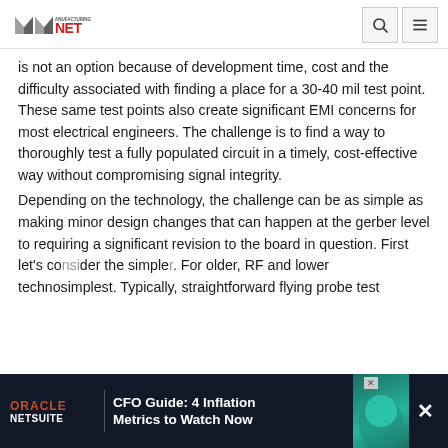Manufacturing NET
is not an option because of development time, cost and the difficulty associated with finding a place for a 30-40 mil test point. These same test points also create significant EMI concerns for most electrical engineers. The challenge is to find a way to thoroughly test a fully populated circuit in a timely, cost-effective way without compromising signal integrity.
Depending on the technology, the challenge can be as simple as making minor design changes that can happen at the gerber level to requiring a significant revision to the board in question. First let's co... the simple... and lower techno... simplest. Typically, straightforward flying probe test
[Figure (screenshot): Oracle NetSuite advertisement banner: 'CFO Guide: 4 Inflation Metrics to Watch Now']